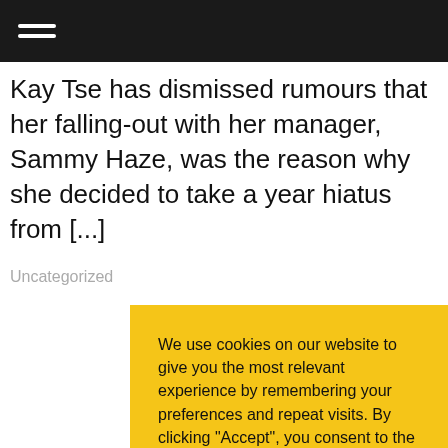Kay Tse has dismissed rumours that her falling-out with her manager, Sammy Haze, was the reason why she decided to take a year hiatus from [...]
Uncategorized
We use cookies on our website to give you the most relevant experience by remembering your preferences and repeat visits. By clicking “Accept”, you consent to the use of ALL the cookies. Read More
Do not sell my personal information.
Cookie Settings  Accept